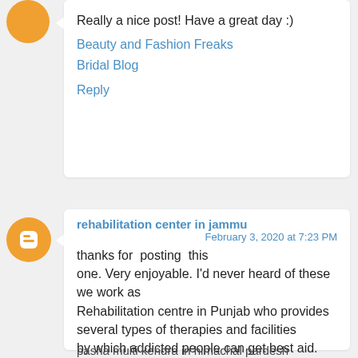Really a nice post! Have a great day :)
Beauty and Fashion Freaks
Bridal Blog

Reply
rehabilitation center in jammu
February 3, 2020 at 7:23 PM
thanks for posting this one. Very enjoyable. I'd never heard of these we work as Rehabilitation centre in Punjab who provides several types of therapies and facilities by which addicted people can get best aid. We have certified and professional medical staff who always care of patients. For more details, visit the website or call us. FIND OUT MORE AT De Addiction Center in Amritsar
pasha multi kendra in himachal pardesh